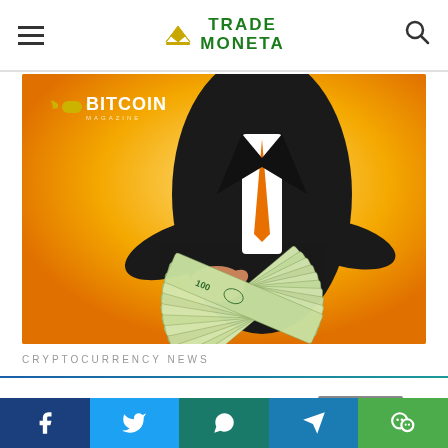TRADE MONETA
[Figure (photo): Person in a black suit with an orange tie holding out a fan of US $100 dollar bills against an orange/yellow gradient background. Bitcoin logo and text overlay in the top left corner.]
CRYPTOCURRENCY NEWS
This website uses cookies. Read More Accept
Social share buttons: Facebook, Twitter, WhatsApp, Telegram, WeChat